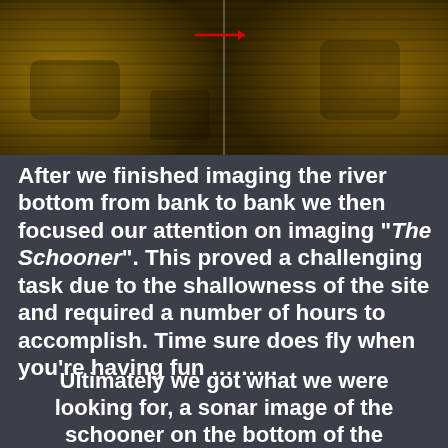[Figure (photo): Sonar image of a river bottom showing a dark olive/golden textured surface with a vertical line and a red horizontal arrow pointing right in the upper center area.]
After we finished imaging the river bottom from bank to bank we then focused our attention on imaging “The Schooner”. This proved a challenging task due to the shallowness of the site and required a number of hours to accomplish. Time sure does fly when you’re having fun ……..
Ultimately we got what we were looking for, a sonar image of the schooner on the bottom of the Connecticut River...